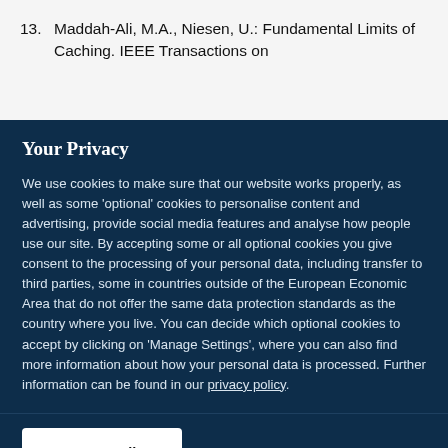13. Maddah-Ali, M.A., Niesen, U.: Fundamental Limits of Caching. IEEE Transactions on
Your Privacy
We use cookies to make sure that our website works properly, as well as some 'optional' cookies to personalise content and advertising, provide social media features and analyse how people use our site. By accepting some or all optional cookies you give consent to the processing of your personal data, including transfer to third parties, some in countries outside of the European Economic Area that do not offer the same data protection standards as the country where you live. You can decide which optional cookies to accept by clicking on 'Manage Settings', where you can also find more information about how your personal data is processed. Further information can be found in our privacy policy.
Accept all cookies
Manage preferences